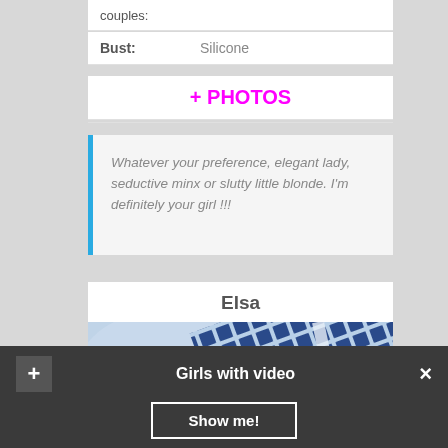couples:
| Bust: | Silicone |
| --- | --- |
+ PHOTOS
Whatever your preference, elegant lady, seductive minx or slutty little blonde. I'm definitely your girl !!!
Elsa
[Figure (photo): Photo of fabric/textile with blue diamond grid pattern]
Girls with video
Show me!